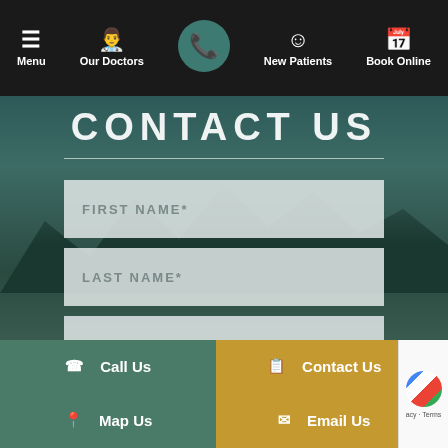Menu | Our Doctors | [Phone] | New Patients | Book Online
CONTACT US
FIRST NAME*
LAST NAME*
ENTER YOUR EMAIL*
YOUR PHONE NUMBER*
Call Us
Contact Us
Map Us
Email Us